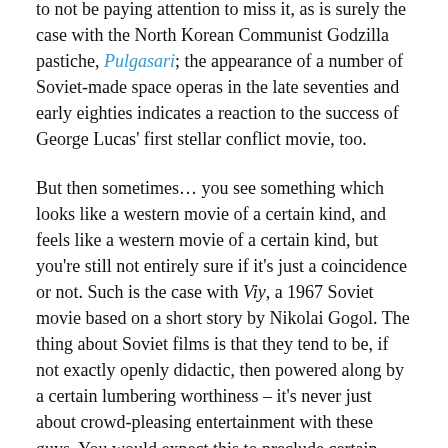to not be paying attention to miss it, as is surely the case with the North Korean Communist Godzilla pastiche, Pulgasari; the appearance of a number of Soviet-made space operas in the late seventies and early eighties indicates a reaction to the success of George Lucas' first stellar conflict movie, too.
But then sometimes… you see something which looks like a western movie of a certain kind, and feels like a western movie of a certain kind, but you're still not entirely sure if it's just a coincidence or not. Such is the case with Viy, a 1967 Soviet movie based on a short story by Nikolai Gogol. The thing about Soviet films is that they tend to be, if not exactly openly didactic, then powered along by a certain lumbering worthiness – it's never just about crowd-pleasing entertainment with these guys. You would expect this to preclude certain genres entirely, and to a point you